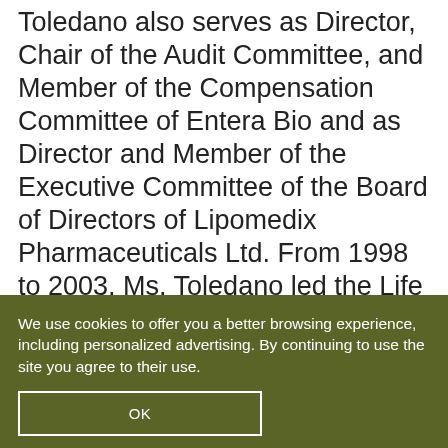Toledano also serves as Director, Chair of the Audit Committee, and Member of the Compensation Committee of Entera Bio and as Director and Member of the Executive Committee of the Board of Directors of Lipomedix Pharmaceuticals Ltd. From 1998 to 2003, Ms. Toledano led the Life Sciences Corporate Finance group at Ernst & Young (Israel). Ms. Toledano holds a BA in Economics from Tufts University and an MBA in Finance and Entrepreneurship
We use cookies to offer you a better browsing experience, including personalized advertising. By continuing to use the site you agree to their use.
OK